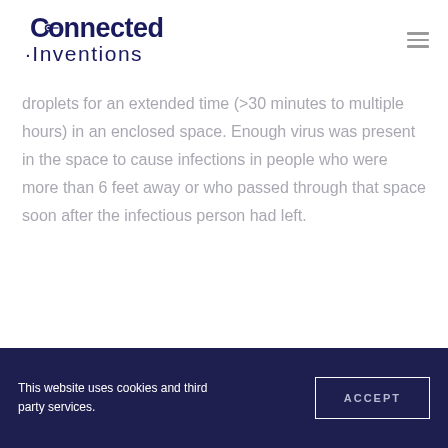Connected Inventions
droplets for an extended time (>30 minutes to multiple hours) in an enclosed space. Enough virus was present in the space to cause infections in people who were more than 6 feet away or who passed through that space soon after the infectious person had left.
This website uses cookies and third party services. ACCEPT